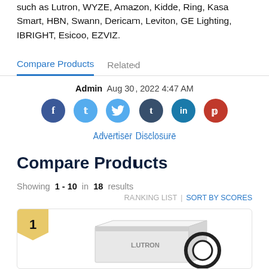such as Lutron, WYZE, Amazon, Kidde, Ring, Kasa Smart, HBN, Swann, Dericam, Leviton, GE Lighting, IBRIGHT, Esicoo, EZVIZ.
Compare Products
Admin  Aug 30, 2022 4:47 AM
[Figure (infographic): Social media share icons: Facebook (dark blue), Twitter (light blue), Tumblr (dark navy), LinkedIn (teal), Pinterest (red)]
Advertiser Disclosure
Compare Products
Showing 1 - 10 in 18 results
RANKING LIST | SORT BY SCORES
[Figure (photo): Product card showing rank badge '1' in gold and a Lutron product box image at the bottom]